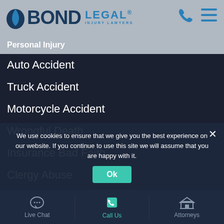[Figure (logo): Bond Legal Injury Lawyers logo with blue droplet icon]
Personal Injury
Auto Accident
Truck Accident
Motorcycle Accident
Wrongful Death
Insurance Bad Faith
Clergy Abuse
Talcum Powder
Firefighting Foam
News
General News
Bond Legal Moments
Contact
What Does It Cost To Talk To Us? Nothing.
We use cookies to ensure that we give you the best experience on our website. If you continue to use this site we will assume that you are happy with it.